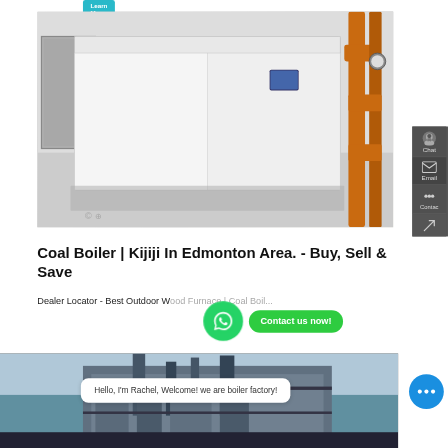[Figure (photo): Cyan 'Learn More' button at the top of page]
[Figure (photo): Large industrial coal boiler unit in a facility with orange pipes on the right side and gray concrete walls. A small watermark is visible in the lower left.]
Coal Boiler | Kijiji In Edmonton Area. - Buy, Sell & Save
Dealer Locator - Best Outdoor Wood Furnace | Coal Boil...
[Figure (other): Cyan 'Learn More' button]
[Figure (other): WhatsApp green circle icon with phone handset logo]
[Figure (other): Green 'Contact us now!' button]
[Figure (other): Dark gray side panel with Chat (headset icon), Email (envelope icon), Contact (dots icon), and up-arrow icons]
[Figure (photo): Bottom strip showing an industrial building with boiler stacks and equipment]
Hello, I'm Rachel, Welcome! we are boiler factory!
[Figure (other): Blue chat bubble circle with three dots]